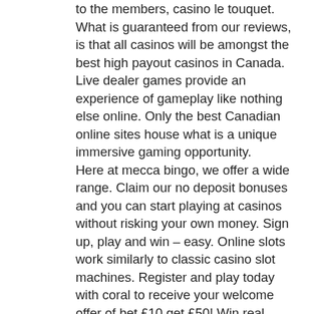to the members, casino le touquet. What is guaranteed from our reviews, is that all casinos will be amongst the best high payout casinos in Canada. Live dealer games provide an experience of gameplay like nothing else online. Only the best Canadian online sites house what is a unique immersive gaming opportunity. Here at mecca bingo, we offer a wide range. Claim our no deposit bonuses and you can start playing at casinos without risking your own money. Sign up, play and win – easy. Online slots work similarly to classic casino slot machines. Register and play today with coral to receive your welcome offer of bet £10 get £50! Win real money at free online casinos with free online slots -- no deposit required signup bonuses. Get 50% off 1st gold coin purchase – pay $4. Coin master free spins link will give you more interest to play this game daily. Like other casino games, most penny slots offer the option of